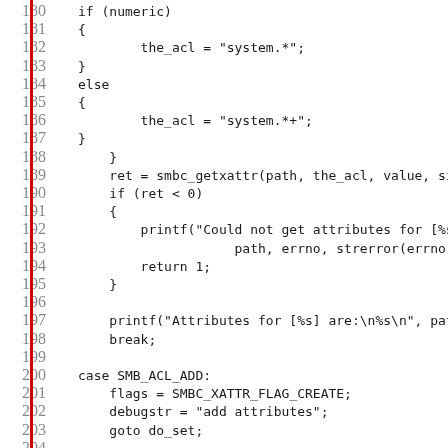Source code listing, lines 180-211. C code showing smbc_getxattr logic with switch/case for SMB_ACL_ADD, SMB_ACL_MODIFY, SMB_ACL_CHOWN.